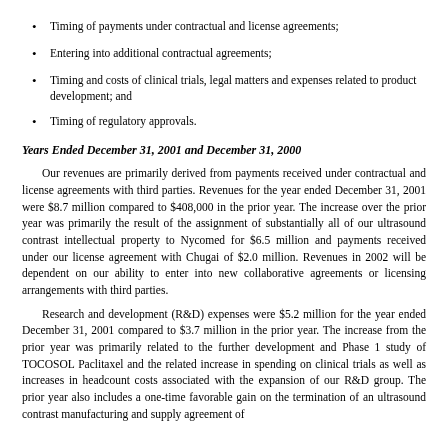Timing of payments under contractual and license agreements;
Entering into additional contractual agreements;
Timing and costs of clinical trials, legal matters and expenses related to product development; and
Timing of regulatory approvals.
Years Ended December 31, 2001 and December 31, 2000
Our revenues are primarily derived from payments received under contractual and license agreements with third parties. Revenues for the year ended December 31, 2001 were $8.7 million compared to $408,000 in the prior year. The increase over the prior year was primarily the result of the assignment of substantially all of our ultrasound contrast intellectual property to Nycomed for $6.5 million and payments received under our license agreement with Chugai of $2.0 million. Revenues in 2002 will be dependent on our ability to enter into new collaborative agreements or licensing arrangements with third parties.
Research and development (R&D) expenses were $5.2 million for the year ended December 31, 2001 compared to $3.7 million in the prior year. The increase from the prior year was primarily related to the further development and Phase 1 study of TOCOSOL Paclitaxel and the related increase in spending on clinical trials as well as increases in headcount costs associated with the expansion of our R&D group. The prior year also includes a one-time favorable gain on the termination of an ultrasound contrast manufacturing and supply agreement of